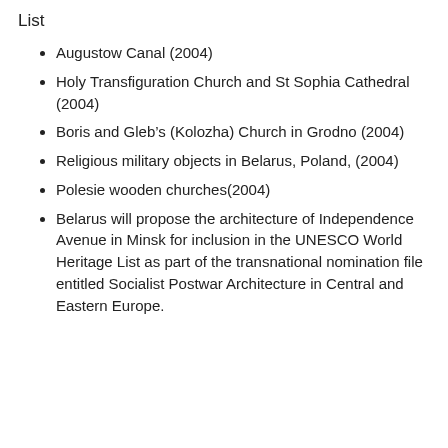List
Augustow Canal (2004)
Holy Transfiguration Church and St Sophia Cathedral (2004)
Boris and Gleb’s (Kolozha) Church in Grodno (2004)
Religious military objects in Belarus, Poland, (2004)
Polesie wooden churches(2004)
Belarus will propose the architecture of Independence Avenue in Minsk for inclusion in the UNESCO World Heritage List as part of the transnational nomination file entitled Socialist Postwar Architecture in Central and Eastern Europe.